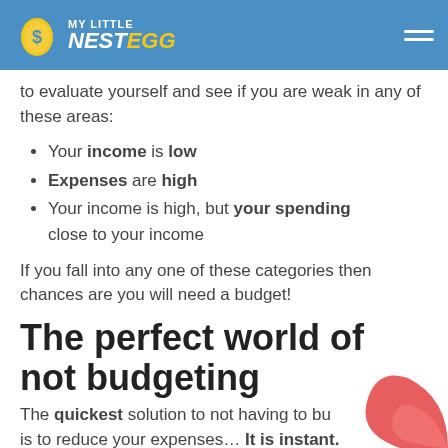MY LITTLE NESTEGG
to evaluate yourself and see if you are weak in any of these areas:
Your income is low
Expenses are high
Your income is high, but your spending close to your income
If you fall into any one of these categories then chances are you will need a budget!
The perfect world of not budgeting
The quickest solution to not having to budget is to reduce your expenses... It is instant.